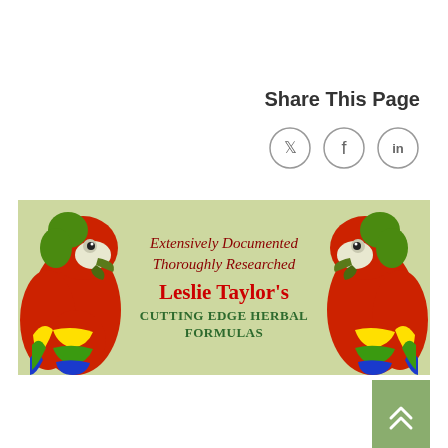Share This Page
[Figure (illustration): Three social media share buttons for Twitter, Facebook, and LinkedIn shown as circular icon buttons]
[Figure (illustration): Banner with light green background featuring two colorful macaw parrots on left and right sides. Center text reads: 'Extensively Documented Thoroughly Researched Leslie Taylor's CUTTING EDGE HERBAL FORMULAS']
[Figure (other): Scroll-to-top button with double up-arrow chevron on green background, bottom right corner]